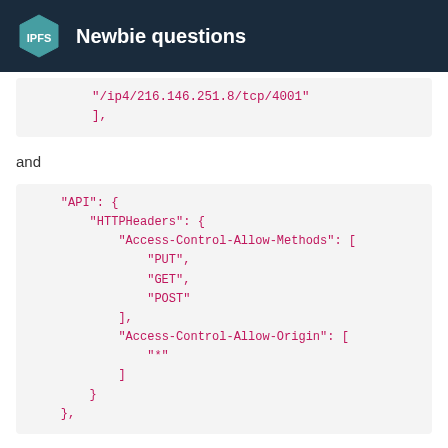Newbie questions
"/ip4/216.146.251.8/tcp/4001"
        ],
and
"API": {
    "HTTPHeaders": {
        "Access-Control-Allow-Methods": [
            "PUT",
            "GET",
            "POST"
        ],
        "Access-Control-Allow-Origin": [
            "*"
        ]
    }
},
along with:
9 / 36